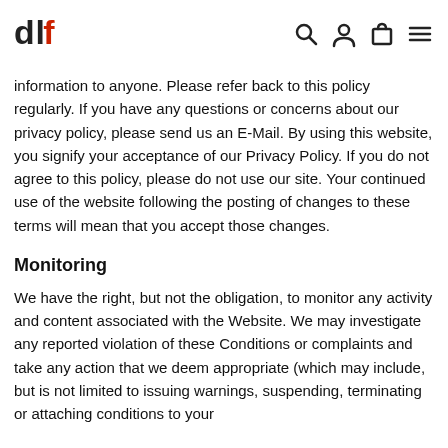dlf [navigation icons: search, account, cart, menu]
information to anyone. Please refer back to this policy regularly. If you have any questions or concerns about our privacy policy, please send us an E-Mail. By using this website, you signify your acceptance of our Privacy Policy. If you do not agree to this policy, please do not use our site. Your continued use of the website following the posting of changes to these terms will mean that you accept those changes.
Monitoring
We have the right, but not the obligation, to monitor any activity and content associated with the Website. We may investigate any reported violation of these Conditions or complaints and take any action that we deem appropriate (which may include, but is not limited to issuing warnings, suspending, terminating or attaching conditions to your